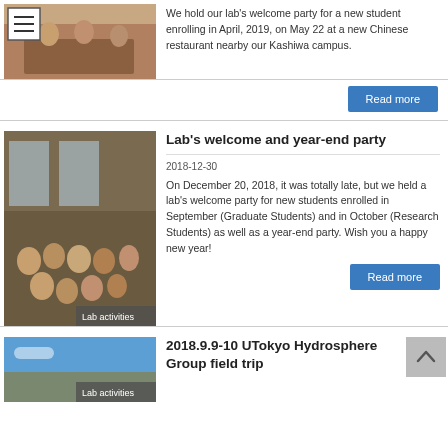[Figure (photo): Photo of people seated at a restaurant table, partially visible, with a menu icon overlay in top-left]
We hold our lab's welcome party for a new student enrolling in April, 2019, on May 22 at a new Chinese restaurant nearby our Kashiwa campus.
Read more
[Figure (photo): Group photo of lab members at a party, label 'Lab activities' in bottom-right corner]
Lab's welcome and year-end party
2018-12-30
On December 20, 2018, it was totally late, but we held a lab's welcome party for new students enrolled in September (Graduate Students) and in October (Research Students) as well as a year-end party. Wish you a happy new year!
Read more
[Figure (photo): Outdoor landscape photo with blue sky, label 'Lab activities' in bottom-right corner]
2018.9.9-10 UTokyo Hydrosphere Group field trip